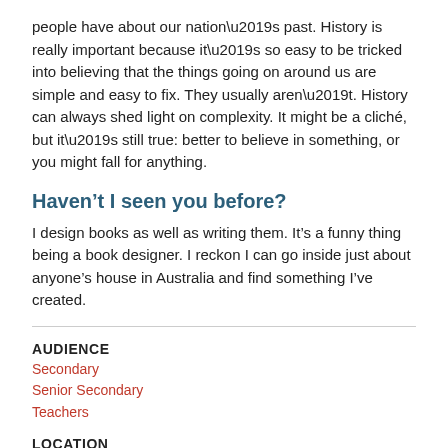people have about our nation’s past. History is really important because it’s so easy to be tricked into believing that the things going on around us are simple and easy to fix. They usually aren’t. History can always shed light on complexity. It might be a cliché, but it’s still true: better to believe in something, or you might fall for anything.
Haven’t I seen you before?
I design books as well as writing them. It’s a funny thing being a book designer. I reckon I can go inside just about anyone’s house in Australia and find something I’ve created.
AUDIENCE
Secondary
Senior Secondary
Teachers
LOCATION
Victoria
SESSIONS
In addition to the sessions below, all speakers present general talks on their